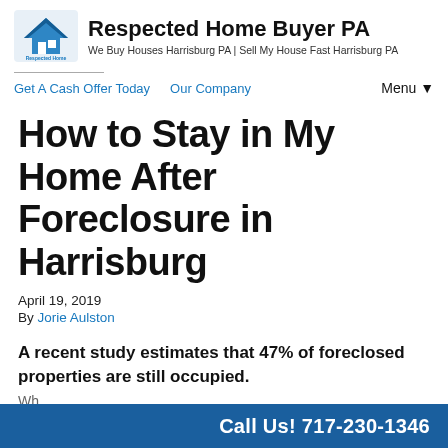Respected Home Buyer PA — We Buy Houses Harrisburg PA | Sell My House Fast Harrisburg PA
Get A Cash Offer Today   Our Company   Menu ▼
How to Stay in My Home After Foreclosure in Harrisburg
April 19, 2019
By Jorie Aulston
A recent study estimates that 47% of foreclosed properties are still occupied.
Call Us! 717-230-1346